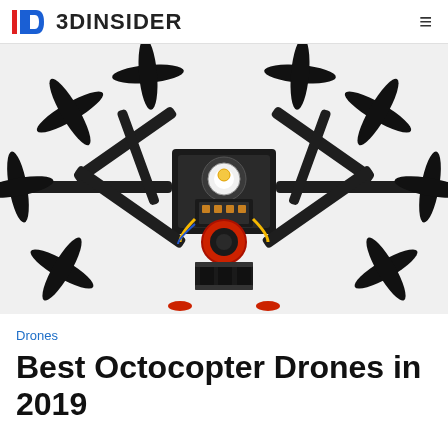3DINSIDER
[Figure (photo): Overhead/front view of a black carbon fiber octocopter drone frame with eight rotor arms, propellers, electronics visible in center, red landing gear, and a camera mount at the bottom, on white background.]
Drones
Best Octocopter Drones in 2019